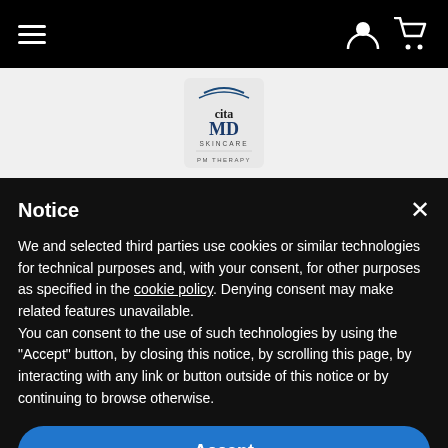Navigation bar with hamburger menu, user icon, and cart icon
[Figure (logo): ClaraMD Skincare PM Therapy product image on white background]
Notice
We and selected third parties use cookies or similar technologies for technical purposes and, with your consent, for other purposes as specified in the cookie policy. Denying consent may make related features unavailable.
You can consent to the use of such technologies by using the "Accept" button, by closing this notice, by scrolling this page, by interacting with any link or button outside of this notice or by continuing to browse otherwise.
Accept
Learn more and customize